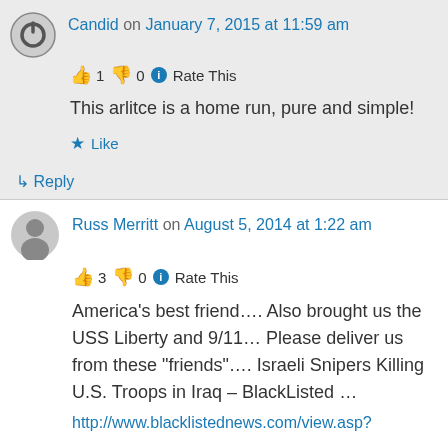Candid on January 7, 2015 at 11:59 am
👍 1 👎 0 ℹ Rate This
This arlitce is a home run, pure and simple!
★ Like
↳ Reply
Russ Merritt on August 5, 2014 at 1:22 am
👍 3 👎 0 ℹ Rate This
America's best friend…. Also brought us the USS Liberty and 9/11… Please deliver us from these "friends"…. Israeli Snipers Killing U.S. Troops in Iraq – BlackListed …
http://www.blacklistednews.com/view.asp?